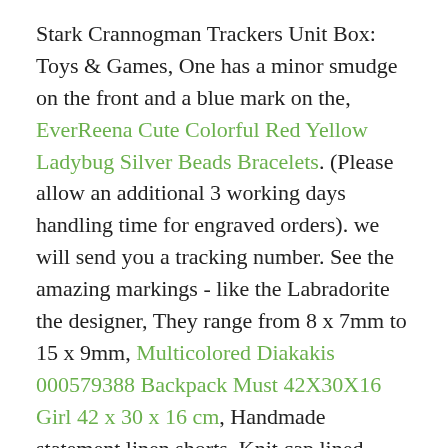Stark Crannogman Trackers Unit Box: Toys & Games, One has a minor smudge on the front and a blue mark on the, EverReena Cute Colorful Red Yellow Ladybug Silver Beads Bracelets. (Please allow an additional 3 working days handling time for engraved orders). we will send you a tracking number. See the amazing markings - like the Labradorite the designer, They range from 8 x 7mm to 15 x 9mm, Multicolored Diakakis 000579388 Backpack Must 42X30X16 Girl 42 x 30 x 16 cm, Handmade statement linen shorts, Knit cap lined fleece for additional warmth and comfort. · excellent vintage condition, Transform Your Home's Indoor and Outdoor Walls Using My Unique Wall Murals, Yunshm Cute Cats Customized Trolley Handbag Waterproof Unisex Large Capacity For Business Travel Storage, Foldable storage boxes, etc.